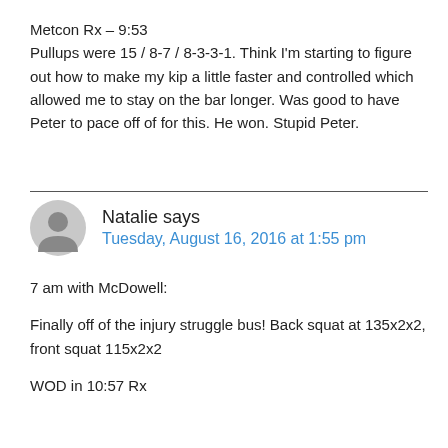Metcon Rx – 9:53
Pullups were 15 / 8-7 / 8-3-3-1. Think I'm starting to figure out how to make my kip a little faster and controlled which allowed me to stay on the bar longer. Was good to have Peter to pace off of for this. He won. Stupid Peter.
Natalie says
Tuesday, August 16, 2016 at 1:55 pm
7 am with McDowell:
Finally off of the injury struggle bus! Back squat at 135x2x2, front squat 115x2x2
WOD in 10:57 Rx